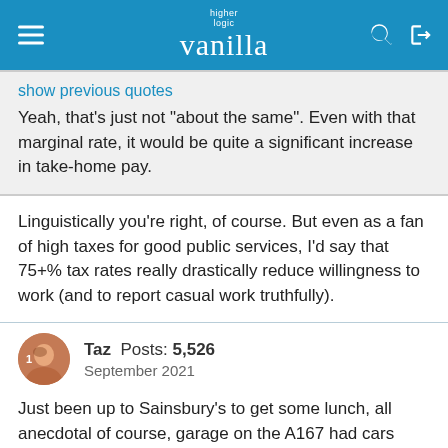higher logic vanilla
show previous quotes
Yeah, that's just not "about the same". Even with that marginal rate, it would be quite a significant increase in take-home pay.
Linguistically you're right, of course. But even as a fan of high taxes for good public services, I'd say that 75+% tax rates really drastically reduce willingness to work (and to report casual work truthfully).
Taz  Posts: 5,526
September 2021
Just been up to Sainsbury's to get some lunch, all anecdotal of course, garage on the A167 had cars queueing onto the A167. Not seen that before. The